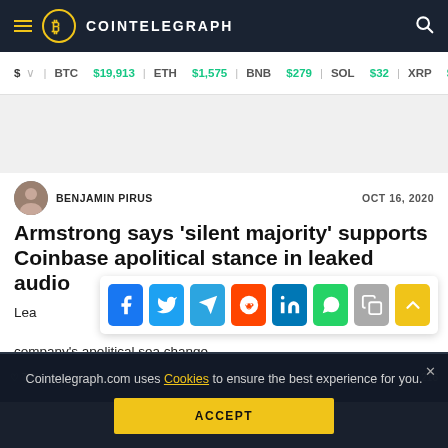COINTELEGRAPH
$ BTC $19,913  ETH $1,575  BNB $279  SOL $32  XRP $0.33
BENJAMIN PIRUS   OCT 16, 2020
Armstrong says 'silent majority' supports Coinbase apolitical stance in leaked audio
Leaked... company's apolitical sea change.
Cointelegraph.com uses Cookies to ensure the best experience for you.
ACCEPT